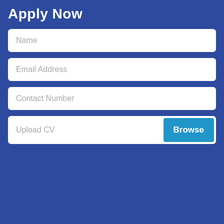Apply Now
Name
Email Address
Contact Number
Upload CV
Submit
Cookies
This website uses cookies to improve user experience
I Accept
Read more
Affiliated Company Websites
Our ...
Contact Us